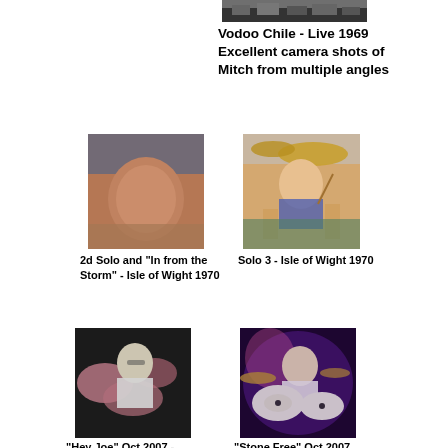[Figure (photo): Black and white photo of Mitch Mitchell performing live, 1969]
Vodoo Chile - Live 1969 Excellent camera shots of Mitch from multiple angles
[Figure (photo): Blurred close-up photo of drummer at Isle of Wight 1970]
2d Solo and "In from the Storm" - Isle of Wight 1970
[Figure (photo): Drummer playing cymbals at Isle of Wight 1970]
Solo 3 - Isle of Wight 1970
[Figure (photo): Drummer smiling at drums, Oct 2007, Hey Joe]
"Hey Joe"  Oct 2007 -
[Figure (photo): Drummer at lit drum kit, Oct 2007, Stone Free]
"Stone Free"  Oct 2007